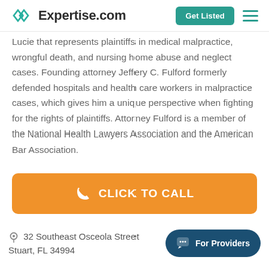Expertise.com | Get Listed
Lucie that represents plaintiffs in medical malpractice, wrongful death, and nursing home abuse and neglect cases. Founding attorney Jeffery C. Fulford formerly defended hospitals and health care workers in malpractice cases, which gives him a unique perspective when fighting for the rights of plaintiffs. Attorney Fulford is a member of the National Health Lawyers Association and the American Bar Association.
CLICK TO CALL
32 Southeast Osceola Street Stuart, FL 34994
For Providers